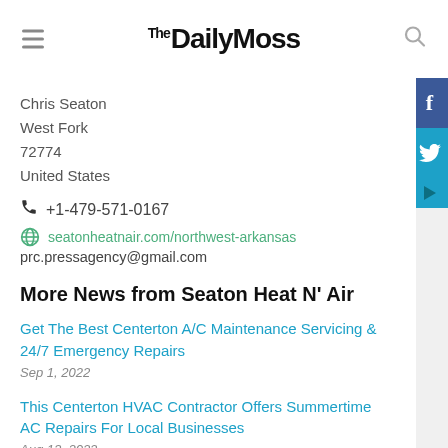The Daily Moss
Chris Seaton
West Fork
72774
United States
+1-479-571-0167
seatonheatnair.com/northwest-arkansas
prc.pressagency@gmail.com
More News from Seaton Heat N' Air
Get The Best Centerton A/C Maintenance Servicing & 24/7 Emergency Repairs
Sep 1, 2022
This Centerton HVAC Contractor Offers Summertime AC Repairs For Local Businesses
Aug 13, 2022